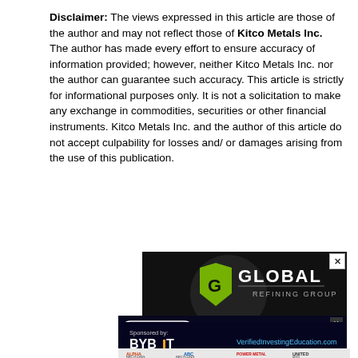Disclaimer: The views expressed in this article are those of the author and may not reflect those of Kitco Metals Inc. The author has made every effort to ensure accuracy of information provided; however, neither Kitco Metals Inc. nor the author can guarantee such accuracy. This article is strictly for informational purposes only. It is not a solicitation to make any exchange in commodities, securities or other financial instruments. Kitco Metals Inc. and the author of this article do not accept culpability for losses and/ or damages arising from the use of this publication.
[Figure (advertisement): Global Refining Group advertisement: WE EXTRACT 2-6% MORE MATERIAL THAN TRADITIONAL METHODS, dark background with green logo]
[Figure (advertisement): GET STARTED button with Kitco Media, The Better Traders, and other logos. Sponsored by BYBIT. VerifiedInvestingEducation.com]
[Figure (advertisement): Bottom bar with Alpha Recycling, ABC Recycling, Power Metal, United MSG logos]